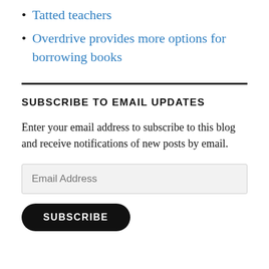Tatted teachers
Overdrive provides more options for borrowing books
SUBSCRIBE TO EMAIL UPDATES
Enter your email address to subscribe to this blog and receive notifications of new posts by email.
Email Address
SUBSCRIBE